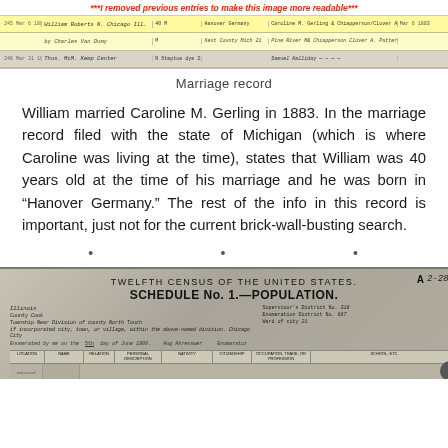***I removed previous entries to make this image more readable***
[Figure (photo): Scanned marriage record document with handwritten entries. A highlighted row (yellow) contains information about William, with columns for name, age, birthplace, and other details. Below is another row of entries.]
Marriage record
William married Caroline M. Gerling in 1883. In the marriage record filed with the state of Michigan (which is where Caroline was living at the time), states that William was 40 years old at the time of his marriage and he was born in "Hanover Germany." The rest of the info in this record is important, just not for the current brick-wall-busting search.
[Figure (photo): Scanned Twelfth Census of the United States, Schedule No. 1 — Population form for Illinois, Cook County, North Town, Chicago City, enumerated June 5, 1900. Shows form header fields and beginning of population table with column headers.]